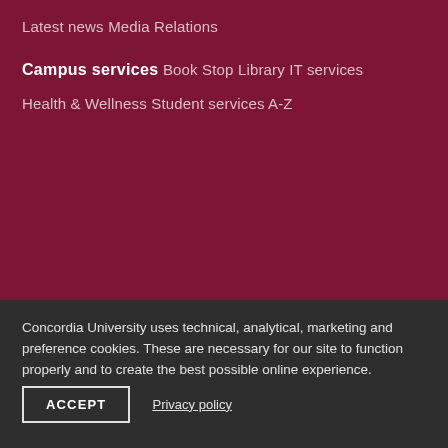Latest news
Media Relations
Campus services
Book Stop
Library
IT services
Health & Wellness
Student services A-Z
Concordia University uses technical, analytical, marketing and preference cookies. These are necessary for our site to function properly and to create the best possible online experience.
ACCEPT
Privacy policy